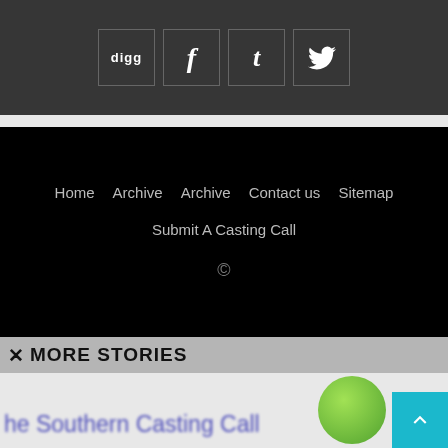[Figure (other): Social sharing icons bar: digg, Facebook (f), Tumblr (t), Twitter bird icon, dark gray background with bordered icon boxes]
Home   Archive   Archive   Contact us   Sitemap
Submit A Casting Call
©
✕ MORE STORIES
[Figure (screenshot): Blurred preview of a story card showing 'the Southern Casting Call' text in blue and a green circle logo, bottom portion cut off]